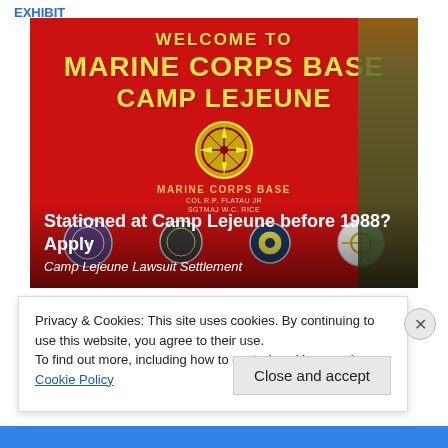EXHIBIT
[Figure (photo): Welcome to Marine Corps Base Camp Lejeune sign - red background with yellow text reading WELCOME TO MARINE CORPS BASE CAMP LEJEUNE, with military unit emblems and badges. Overlaid text reads: Stationed at Camp Lejeune before 1988? Apply / Camp Lejeune Lawsuit Settlement]
Privacy & Cookies: This site uses cookies. By continuing to use this website, you agree to their use.
To find out more, including how to control cookies, see here: Cookie Policy
Close and accept